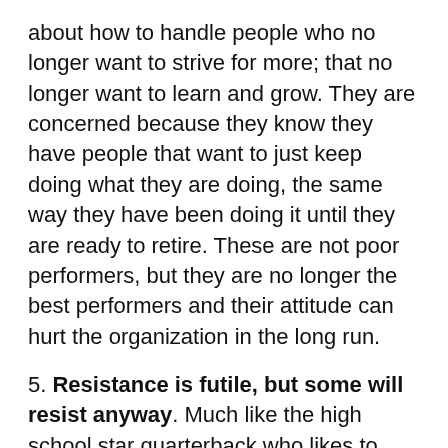about how to handle people who no longer want to strive for more; that no longer want to learn and grow. They are concerned because they know they have people that want to just keep doing what they are doing, the same way they have been doing it until they are ready to retire. These are not poor performers, but they are no longer the best performers and their attitude can hurt the organization in the long run.
5. Resistance is futile, but some will resist anyway. Much like the high school star quarterback who likes to relive their former glory days, some employees live in the past. They remember what the organization used to be like and they want that back. They distract